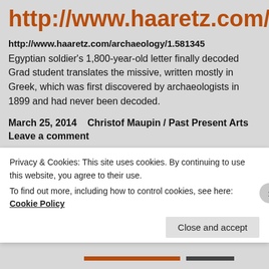http://www.haaretz.com/arch
http://www.haaretz.com/archaeology/1.581345
Egyptian soldier's 1,800-year-old letter finally decoded Grad student translates the missive, written mostly in Greek, which was first discovered by archaeologists in 1899 and had never been decoded.
March 25, 2014    Christof Maupin / Past Present Arts
Leave a comment
Egyptian Antiquities in the
Privacy & Cookies: This site uses cookies. By continuing to use this website, you agree to their use.
To find out more, including how to control cookies, see here: Cookie Policy